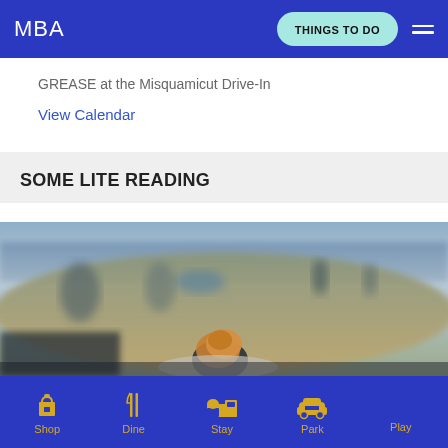MBA | THINGS TO DO
GREASE at the Misquamicut Drive-In
View Calendar
SOME LITE READING
[Figure (photo): Beach scene blurred background with food item in foreground on a plate]
Shop | Dine | Stay | Park | Play